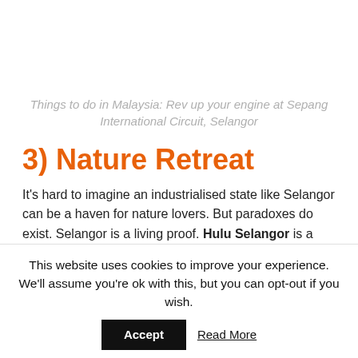Things to do in Malaysia: Rev up your engine at Sepang International Circuit, Selangor
3) Nature Retreat
It's hard to imagine an industrialised state like Selangor can be a haven for nature lovers. But paradoxes do exist. Selangor is a living proof. Hulu Selangor is a very green state with plenty of parks and forest reserves and. Many
This website uses cookies to improve your experience. We'll assume you're ok with this, but you can opt-out if you wish.